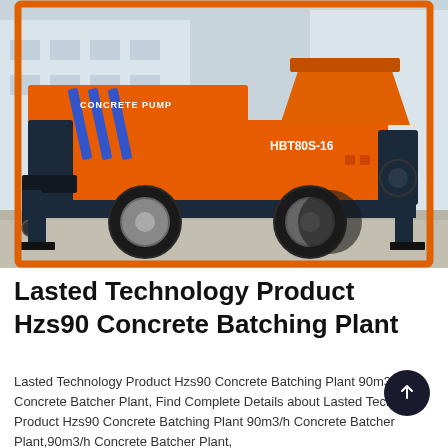[Figure (photo): Orange concrete pump truck labeled 'CONCRETE PUMP' and 'HBT80S-16' parked on a concrete surface in front of a light-colored building. The machine is large, wheeled, and predominantly orange with blue stripe accents.]
Lasted Technology Product Hzs90 Concrete Batching Plant
Lasted Technology Product Hzs90 Concrete Batching Plant 90m3/h Concrete Batcher Plant, Find Complete Details about Lasted Technology Product Hzs90 Concrete Batching Plant 90m3/h Concrete Batcher Plant,90m3/h Concrete Batcher Plant,Concrete Batching Plant from Concrete Batching Plant Supplier or Manufacturer